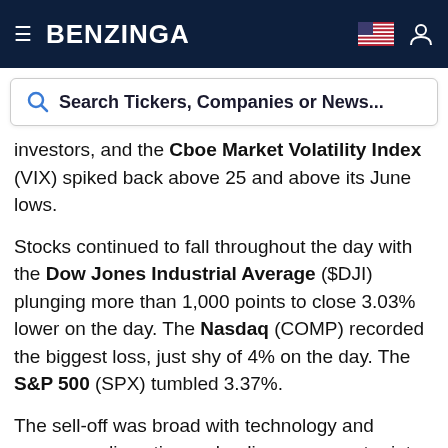BENZINGA
Search Tickers, Companies or News...
investors, and the Cboe Market Volatility Index (VIX) spiked back above 25 and above its June lows.
Stocks continued to fall throughout the day with the Dow Jones Industrial Average ($DJI) plunging more than 1,000 points to close 3.03% lower on the day. The Nasdaq (COMP) recorded the biggest loss, just shy of 4% on the day. The S&P 500 (SPX) tumbled 3.37%.
The sell-off was broad with technology and consumer discretionary leading every sector into the red. Additionally, the small-cap Russell 2000 (RUT)